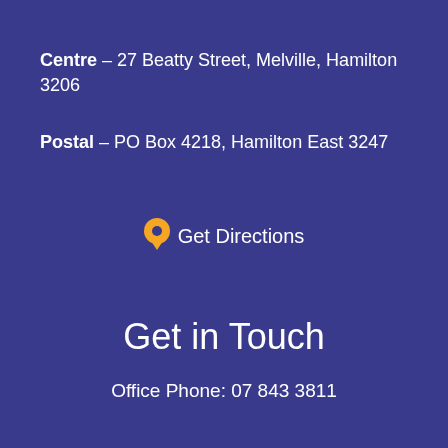Centre – 27 Beatty Street, Melville, Hamilton 3206
Postal – PO Box 4218, Hamilton East 3247
Get Directions
Get in Touch
Office Phone: 07 843 3811